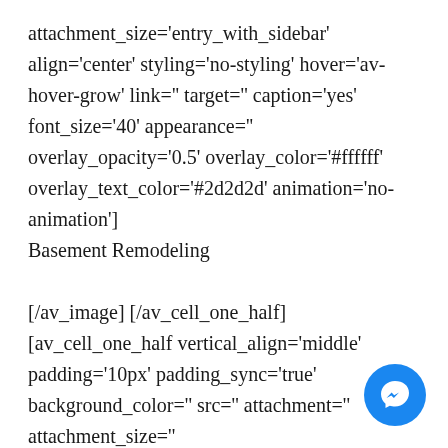attachment_size='entry_with_sidebar' align='center' styling='no-styling' hover='av-hover-grow' link='' target='' caption='yes' font_size='40' appearance='' overlay_opacity='0.5' overlay_color='#ffffff' overlay_text_color='#2d2d2d' animation='no-animation'] Basement Remodeling
[/av_image] [/av_cell_one_half] [av_cell_one_half vertical_align='middle' padding='10px' padding_sync='true' background_color='' src='' attachment='' attachment_size='' background_attachment='scroll'